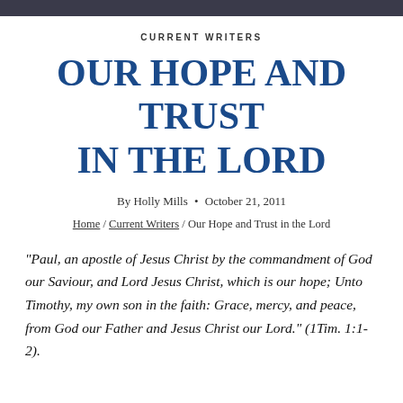CURRENT WRITERS
OUR HOPE AND TRUST IN THE LORD
By Holly Mills • October 21, 2011
Home / Current Writers / Our Hope and Trust in the Lord
“Paul, an apostle of Jesus Christ by the commandment of God our Saviour, and Lord Jesus Christ, which is our hope; Unto Timothy, my own son in the faith: Grace, mercy, and peace, from God our Father and Jesus Christ our Lord.” (1Tim. 1:1-2).